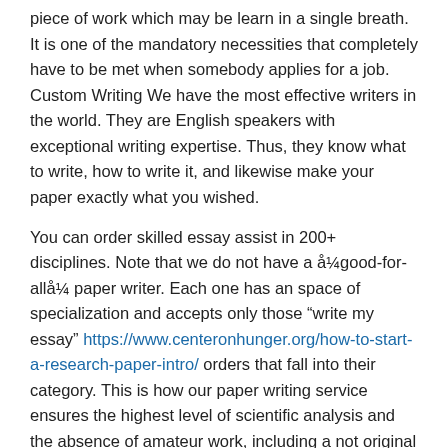piece of work which may be learn in a single breath. It is one of the mandatory necessities that completely have to be met when somebody applies for a job. Custom Writing We have the most effective writers in the world. They are English speakers with exceptional writing expertise. Thus, they know what to write, how to write it, and likewise make your paper exactly what you wished.
You can order skilled essay assist in 200+ disciplines. Note that we do not have a å¼good-for-allå¼ paper writer. Each one has an space of specialization and accepts only those “write my essay” https://www.centeronhunger.org/how-to-start-a-research-paper-intro/ orders that fall into their category. This is how our paper writing service ensures the highest level of scientific analysis and the absence of amateur work, including a not original essay.
The paper will be written in a vigorous and understandable language. No tedious prefaces and endless listing of apparent statements. On the opposite, this paper turns right into a compelling story with many compelling facts and highly effective judgments.
It’s...